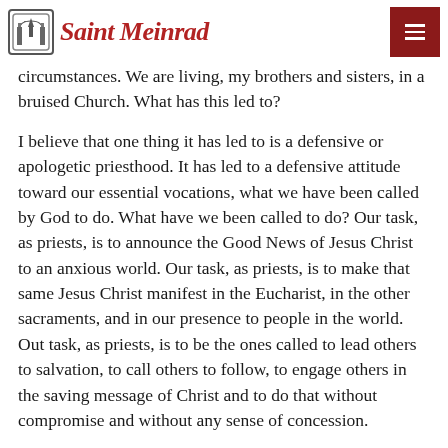Saint Meinrad
circumstances. We are living, my brothers and sisters, in a bruised Church. What has this led to?
I believe that one thing it has led to is a defensive or apologetic priesthood. It has led to a defensive attitude toward our essential vocations, what we have been called by God to do. What have we been called to do? Our task, as priests, is to announce the Good News of Jesus Christ to an anxious world. Our task, as priests, is to make that same Jesus Christ manifest in the Eucharist, in the other sacraments, and in our presence to people in the world. Out task, as priests, is to be the ones called to lead others to salvation, to call others to follow, to engage others in the saving message of Christ and to do that without compromise and without any sense of concession.